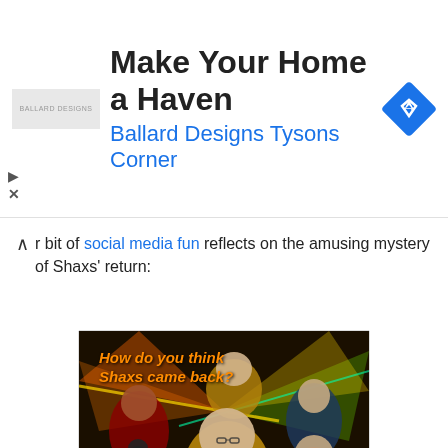[Figure (other): Advertisement banner for Ballard Designs Tysons Corner with logo, title text 'Make Your Home a Haven', subtitle 'Ballard Designs Tysons Corner', and a blue diamond navigation icon]
r bit of social media fun reflects on the amusing mystery of Shaxs' return:
[Figure (illustration): Animated cartoon image showing multiple versions or lookalikes of the character Shaxs from Star Trek: Lower Decks, with text overlay reading 'How do you think Shaxs came back?' against a colorful sci-fi background with laser light effects]